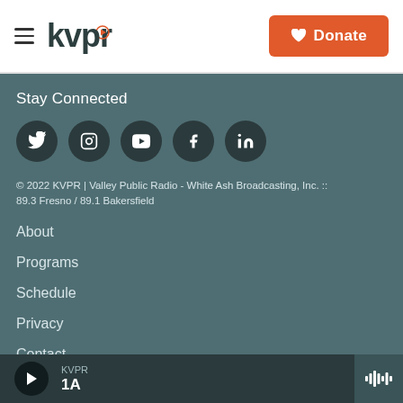kvpr | Donate
Stay Connected
[Figure (illustration): Five social media icon circles: Twitter, Instagram, YouTube, Facebook, LinkedIn]
© 2022 KVPR | Valley Public Radio - White Ash Broadcasting, Inc. :: 89.3 Fresno / 89.1 Bakersfield
About
Programs
Schedule
Privacy
Contact
KVPR 1A